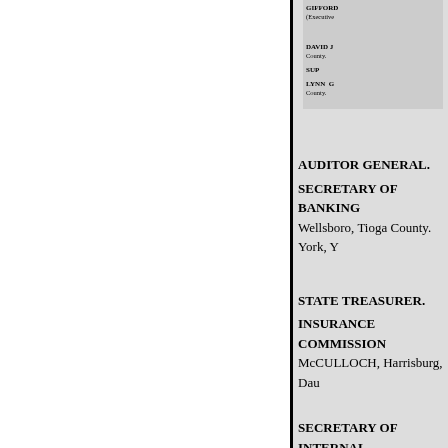GIFFORD (Executive
DAVID J County.
SUP
LYNN G County.
AUDITOR GENERAL.
SECRETARY OF BANKING
Wellsboro, Tioga County. York, Y
STATE TREASURER.
INSURANCE COMMISSION
McCULLOCH, Harrisburg, Dau
SECRETARY OF INTERNAL
AFFAIRS.
JAMES F, WOODWARD,
County
(317 North Front Street.)